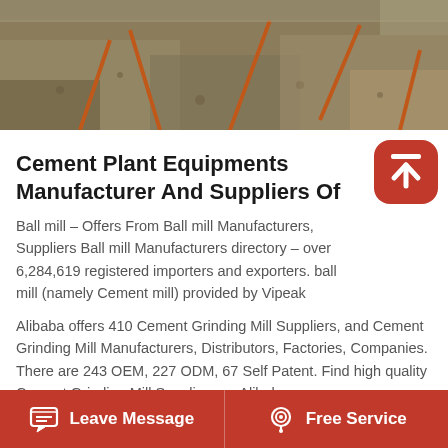[Figure (photo): Photo of a rocky/gravelly earthen wall or terrain with orange/red metal rods or pins sticking out at angles, viewed from above or at an angle.]
Cement Plant Equipments Manufacturer And Suppliers Of
Ball mill – Offers From Ball mill Manufacturers, Suppliers Ball mill Manufacturers directory – over 6,284,619 registered importers and exporters. ball mill (namely Cement mill) provided by Vipeak
Alibaba offers 410 Cement Grinding Mill Suppliers, and Cement Grinding Mill Manufacturers, Distributors, Factories, Companies. There are 243 OEM, 227 ODM, 67 Self Patent. Find high quality Cement Grinding Mill Suppliers on Alibaba.
Read More →
Leave Message   Free Service